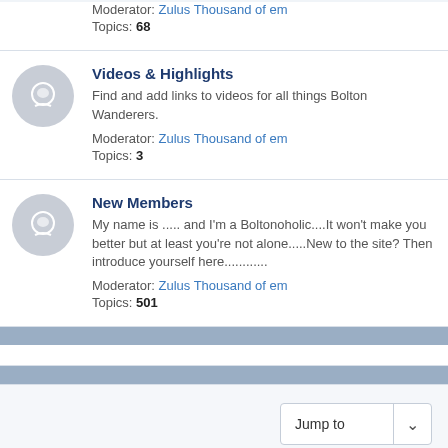Moderator: Zulus Thousand of em
Topics: 68
Videos & Highlights
Find and add links to videos for all things Bolton Wanderers.
Moderator: Zulus Thousand of em
Topics: 3
New Members
My name is ..... and I'm a Boltonoholic....It won't make you better but at least you're not alone.....New to the site? Then introduce yourself here............
Moderator: Zulus Thousand of em
Topics: 501